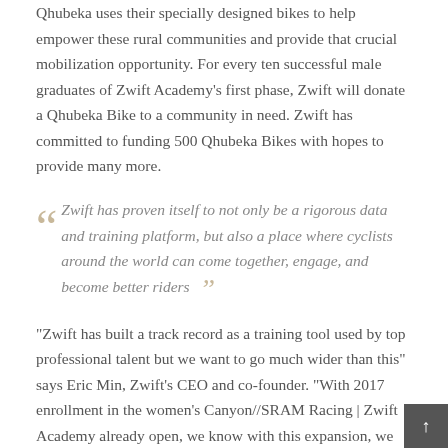Qhubeka uses their specially designed bikes to help empower these rural communities and provide that crucial mobilization opportunity. For every ten successful male graduates of Zwift Academy's first phase, Zwift will donate a Qhubeka Bike to a community in need. Zwift has committed to funding 500 Qhubeka Bikes with hopes to provide many more.
Zwift has proven itself to not only be a rigorous data and training platform, but also a place where cyclists around the world can come together, engage, and become better riders
“Zwift has built a track record as a training tool used by top professional talent but we want to go much wider than this” says Eric Min, Zwift’s CEO and co-founder. “With 2017 enrollment in the women’s Canyon//SRAM Racing | Zwift Academy already open, we know with this expansion, we can create the largest online training